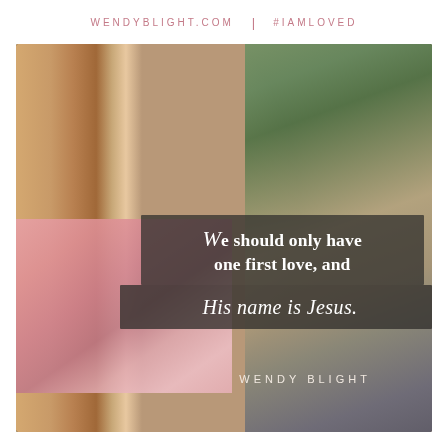WENDYBLIGHT.com | #IAMLOVED
[Figure (photo): Smiling young woman with voluminous natural curly hair wearing a pink scarf and grey jacket, photographed outdoors on a city street with blurred green trees and buildings in background]
We should only have one first love, and
His name is Jesus.
WENDY BLIGHT